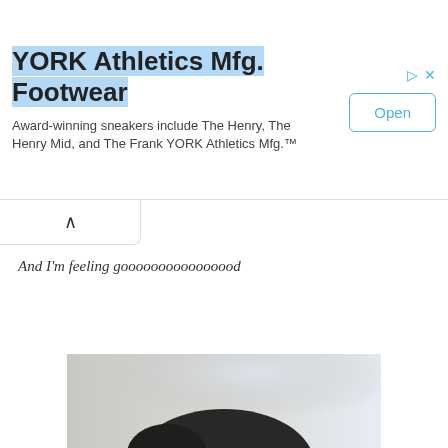[Figure (screenshot): Advertisement banner for YORK Athletics Mfg. Footwear with title, description, and Open button]
YORK Athletics Mfg. Footwear
Award-winning sneakers include The Henry, The Henry Mid, and The Frank YORK Athletics Mfg.™
Open
And I'm feeling goooooooooooooood
[Figure (photo): Blurred outdoor photo showing person from behind, partially visible at bottom of page]